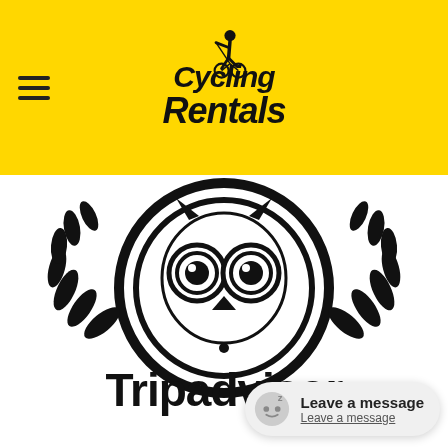Cycling Rentals
[Figure (logo): Tripadvisor logo with owl mascot inside a laurel wreath circle and the text 'Tripadvisor' below in bold black font]
Leave a message
Leave a message